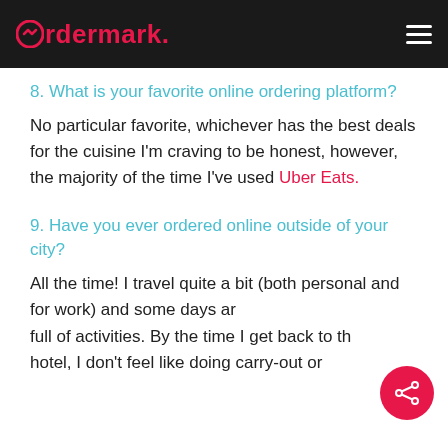Ordermark
8. What is your favorite online ordering platform?
No particular favorite, whichever has the best deals for the cuisine I'm craving to be honest, however, the majority of the time I've used Uber Eats.
9. Have you ever ordered online outside of your city?
All the time! I travel quite a bit (both personal and for work) and some days are full of activities. By the time I get back to the hotel, I don't feel like doing carry-out or